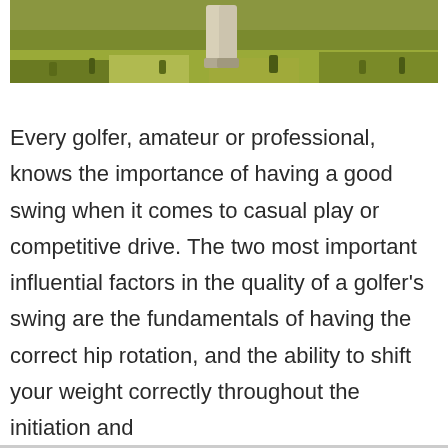[Figure (photo): A golfer standing on a green grassy field, wearing light-colored pants, photographed from the lower body down, surrounded by rough grass.]
Every golfer, amateur or professional, knows the importance of having a good swing when it comes to casual play or competitive drive. The two most important influential factors in the quality of a golfer’s swing are the fundamentals of having the correct hip rotation, and the ability to shift your weight correctly throughout the initiation and